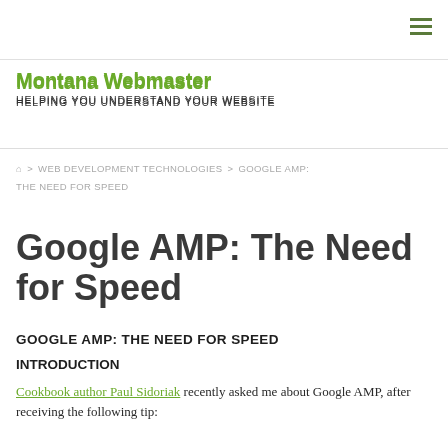Montana Webmaster — HELPING YOU UNDERSTAND YOUR WEBSITE
⌂ > WEB DEVELOPMENT TECHNOLOGIES > GOOGLE AMP: THE NEED FOR SPEED
Google AMP: The Need for Speed
GOOGLE AMP: THE NEED FOR SPEED
INTRODUCTION
Cookbook author Paul Sidoriak recently asked me about Google AMP, after receiving the following tip: